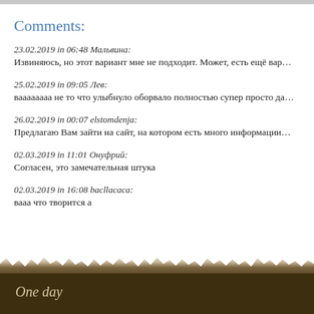Comments:
23.02.2019 in 06:48 Мальвина:
Извиняюсь, но этот вариант мне не подходит. Может, есть ещё вар…
25.02.2019 in 09:05 Лев:
ваааааааа не то что улыбнуло оборвало полностью супер просто да…
26.02.2019 in 00:07 elstomdenja:
Предлагаю Вам зайти на сайт, на котором есть много информации…
02.03.2019 in 11:01 Онуфрий:
Согласен, это замечательная штука
02.03.2019 in 16:08 bacllacaca:
вааа что творится а
One day